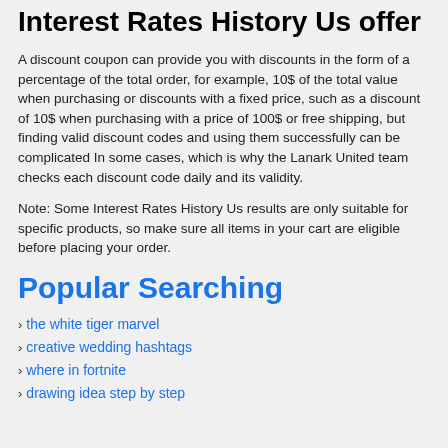Interest Rates History Us offer
A discount coupon can provide you with discounts in the form of a percentage of the total order, for example, 10$ of the total value when purchasing or discounts with a fixed price, such as a discount of 10$ when purchasing with a price of 100$ or free shipping, but finding valid discount codes and using them successfully can be complicated In some cases, which is why the Lanark United team checks each discount code daily and its validity.
Note: Some Interest Rates History Us results are only suitable for specific products, so make sure all items in your cart are eligible before placing your order.
Popular Searching
the white tiger marvel
creative wedding hashtags
where in fortnite
drawing idea step by step